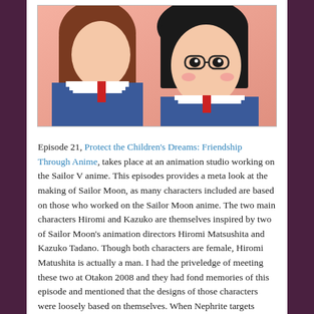[Figure (illustration): Anime-style illustration showing two characters close together in a pink-toned scene. One character has dark hair and glasses wearing a school uniform, the other character is partially visible. Scene appears to be from the Sailor Moon anime series.]
Episode 21, Protect the Children's Dreams: Friendship Through Anime, takes place at an animation studio working on the Sailor V anime. This episodes provides a meta look at the making of Sailor Moon, as many characters included are based on those who worked on the Sailor Moon anime. The two main characters Hiromi and Kazuko are themselves inspired by two of Sailor Moon's animation directors Hiromi Matsushita and Kazuko Tadano. Though both characters are female, Hiromi Matushita is actually a man. I had the priveledge of meeting these two at Otakon 2008 and they had fond memories of this episode and mentioned that the designs of those characters were loosely based on themselves. When Nephrite targets Hiromi it tears her and Kazuko apart. Their friendship is put to the test as they are both